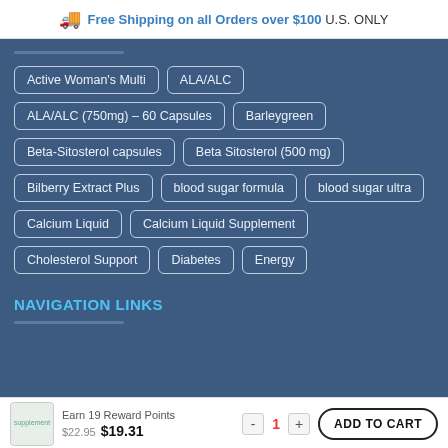Free Shipping on all Orders over $100 U.S. ONLY
Active Woman's Multi
ALA/ALC
ALA/ALC (750mg) – 60 Capsules
Barleygreen
Beta-Sitosterol capsules
Beta Sitosterol (500 mg)
Bilberry Extract Plus
blood sugar formula
blood sugar ultra
Calcium Liquid
Calcium Liquid Supplement
Cholesterol Support
Diabetes
Energy
NAVIGATION LINKS
Earn 19 Reward Points $22.95 $19.31  1  ADD TO CART